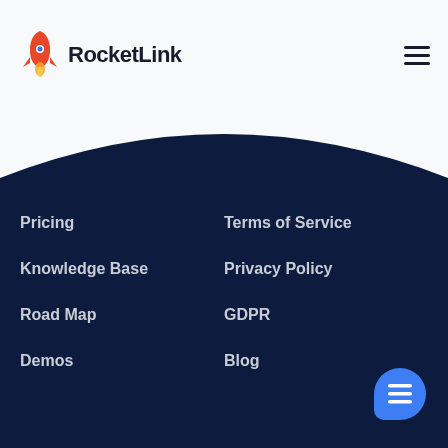RocketLink
Pricing
Knowledge Base
Road Map
Demos
Terms of Service
Privacy Policy
GDPR
Blog